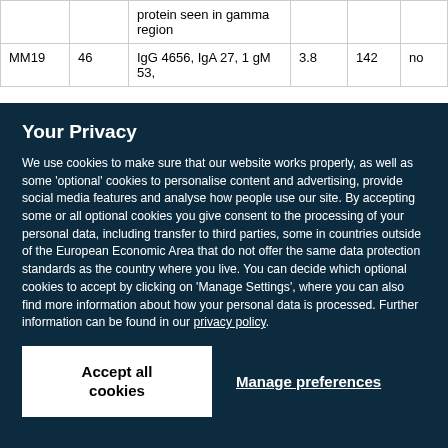|  |  | protein seen in gamma region |  |  |  |
| MM19 | 46 | IgG 4656, IgA 27, 1 gM 53, | 3.8 | 142 | no |
Your Privacy
We use cookies to make sure that our website works properly, as well as some 'optional' cookies to personalise content and advertising, provide social media features and analyse how people use our site. By accepting some or all optional cookies you give consent to the processing of your personal data, including transfer to third parties, some in countries outside of the European Economic Area that do not offer the same data protection standards as the country where you live. You can decide which optional cookies to accept by clicking on 'Manage Settings', where you can also find more information about how your personal data is processed. Further information can be found in our privacy policy.